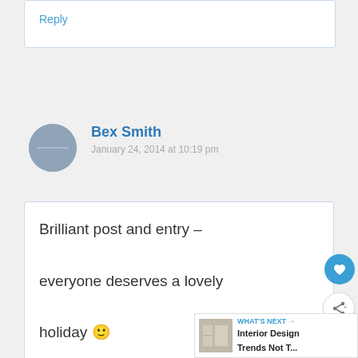Reply
Bex Smith
January 24, 2014 at 10:19 pm
Brilliant post and entry – everyone deserves a lovely holiday 🙂
Bex Smith recently posted...